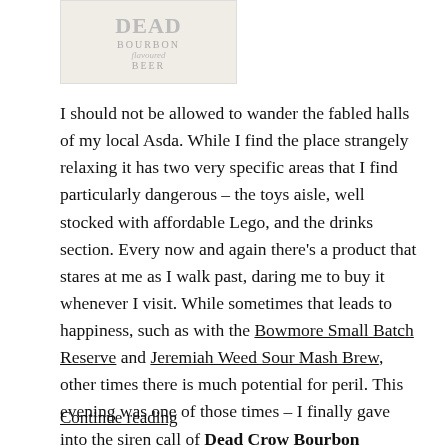[Figure (photo): Partial photo of Dead Crow Bourbon Flavoured Beer bottle label showing 'BOURBON flavoured BEER' text in grey/muted tones]
I should not be allowed to wander the fabled halls of my local Asda. While I find the place strangely relaxing it has two very specific areas that I find particularly dangerous – the toys aisle, well stocked with affordable Lego, and the drinks section. Every now and again there's a product that stares at me as I walk past, daring me to buy it whenever I visit. While sometimes that leads to happiness, such as with the Bowmore Small Batch Reserve and Jeremiah Weed Sour Mash Brew, other times there is much potential for peril. This evening was one of those times – I finally gave into the siren call of Dead Crow Bourbon Flavoured Beer.
Continue reading